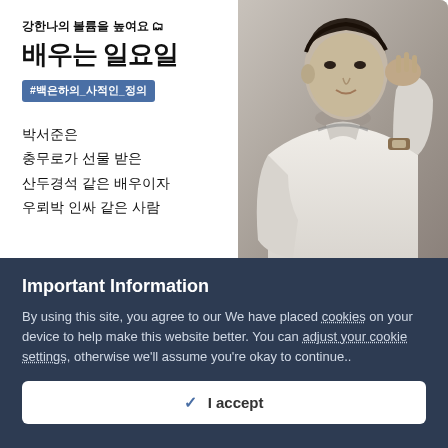[Figure (photo): Korean advertisement banner showing Korean text on the left panel and a black-and-white photo of a young Korean man in a white t-shirt with a watch, posing with his hand near his face, on the right panel.]
Important Information
By using this site, you agree to our We have placed cookies on your device to help make this website better. You can adjust your cookie settings, otherwise we'll assume you're okay to continue..
✓  I accept